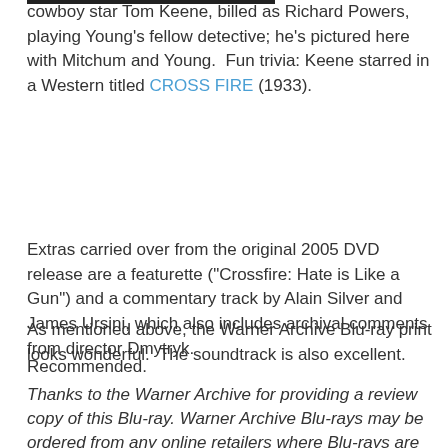cowboy star Tom Keene, billed as Richard Powers, playing Young's fellow detective; he's pictured here with Mitchum and Young.  Fun trivia: Keene starred in a Western titled CROSS FIRE (1933).
Extras carried over from the original 2005 DVD release are a featurette ("Crossfire: Hate is Like a Gun") and a commentary track by Alain Silver and James Ursini, which also includes archival comments from director Dmytryk.
As mentioned above, the Warner Archive Blu-ray print looks wonderful.  The soundtrack is also excellent.
Recommended.
Thanks to the Warner Archive for providing a review copy of this Blu-ray. Warner Archive Blu-rays may be ordered from any online retailers where Blu-rays are sold.